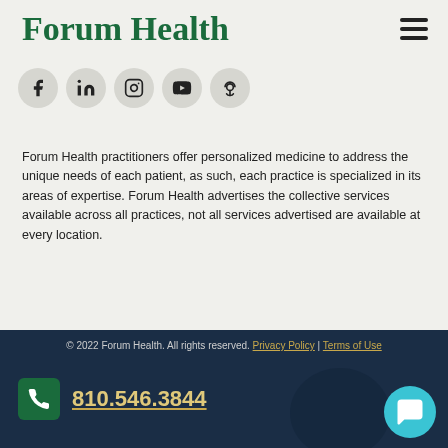Forum Health
[Figure (illustration): Social media icons in circles: Facebook, LinkedIn, Instagram, YouTube, Podcast]
Forum Health practitioners offer personalized medicine to address the unique needs of each patient, as such, each practice is specialized in its areas of expertise. Forum Health advertises the collective services available across all practices, not all services advertised are available at every location.
© 2022 Forum Health. All rights reserved. Privacy Policy | Terms of Use
810.546.3844